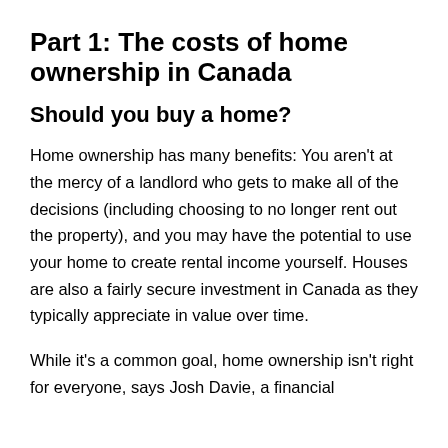Part 1: The costs of home ownership in Canada
Should you buy a home?
Home ownership has many benefits: You aren’t at the mercy of a landlord who gets to make all of the decisions (including choosing to no longer rent out the property), and you may have the potential to use your home to create rental income yourself. Houses are also a fairly secure investment in Canada as they typically appreciate in value over time.
While it’s a common goal, home ownership isn’t right for everyone, says Josh Davie, a financial